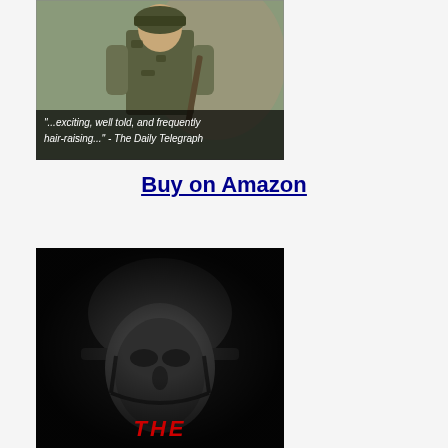[Figure (photo): Book cover showing a soldier in camouflage gear with a rifle, standing against a rocky background. At the bottom a quote reads: '...exciting, well told, and frequently hair-raising...' - The Daily Telegraph]
Buy on Amazon
[Figure (photo): Book cover in black and white showing a close-up of a soldier wearing a helmet, with the word 'THE' visible in red text at the bottom]